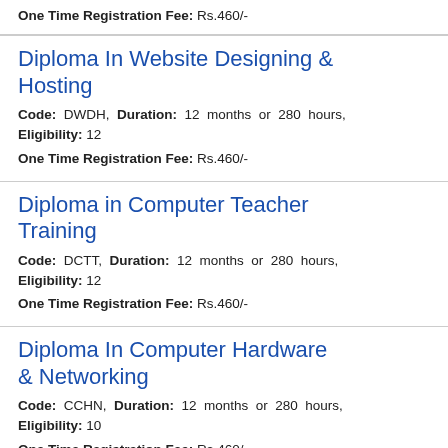One Time Registration Fee: Rs.460/-
Diploma In Website Designing & Hosting
Code: DWDH, Duration: 12 months or 280 hours, Eligibility: 12
One Time Registration Fee: Rs.460/-
Diploma in Computer Teacher Training
Code: DCTT, Duration: 12 months or 280 hours, Eligibility: 12
One Time Registration Fee: Rs.460/-
Diploma In Computer Hardware & Networking
Code: CCHN, Duration: 12 months or 280 hours, Eligibility: 10
One Time Registration Fee: Rs.460/-
Diploma Something Training...